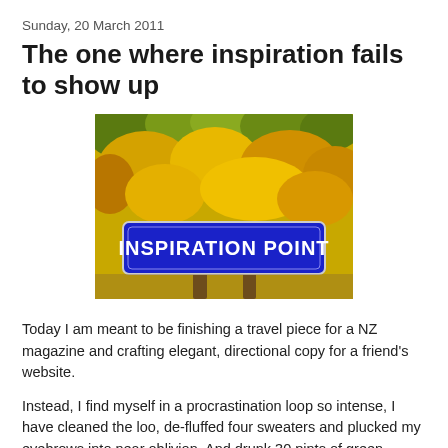Sunday, 20 March 2011
The one where inspiration fails to show up
[Figure (photo): A blue road sign reading 'INSPIRATION POINT' mounted on wooden posts, with a backdrop of autumn trees with yellow and orange foliage.]
Today I am meant to be finishing a travel piece for a NZ magazine and crafting elegant, directional copy for a friend's website.
Instead, I find myself in a procrastination loop so intense, I have cleaned the loo, de-fluffed four sweaters and plucked my eyebrows into near oblivion. And drunk 30 pints of green